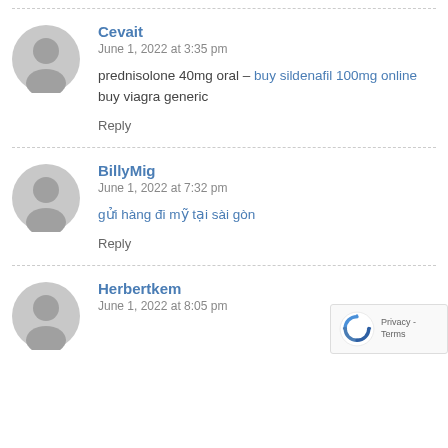Cevait
June 1, 2022 at 3:35 pm
prednisolone 40mg oral – buy sildenafil 100mg online buy viagra generic
Reply
BillyMig
June 1, 2022 at 7:32 pm
gửi hàng đi mỹ tại sài gòn
Reply
Herbertkem
June 1, 2022 at 8:05 pm